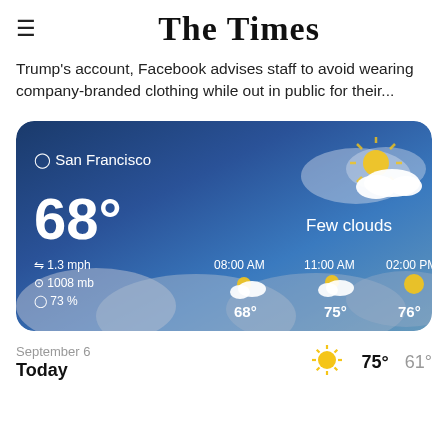The Times
Trump's account, Facebook advises staff to avoid wearing company-branded clothing while out in public for their...
[Figure (screenshot): Weather widget for San Francisco showing 68°F, Few clouds, wind 1.3 mph, pressure 1008 mb, humidity 73%, with hourly forecasts at 08:00 AM (68°), 11:00 AM (75°), 02:00 PM (76°)]
| Date | Icon | High | Low |
| --- | --- | --- | --- |
| Today
September 6 | ☀ | 75° | 61° |